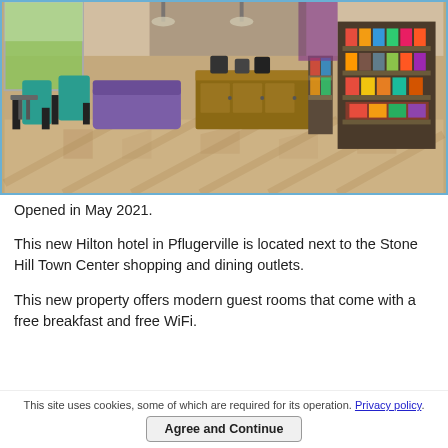[Figure (photo): Interior of a modern hotel lobby/market area with teal chairs, wooden cabinets, snack/beverage displays, and herringbone wood-pattern flooring.]
Opened in May 2021.
This new Hilton hotel in Pflugerville is located next to the Stone Hill Town Center shopping and dining outlets.
This new property offers modern guest rooms that come with a free breakfast and free WiFi.
This site uses cookies, some of which are required for its operation. Privacy policy.